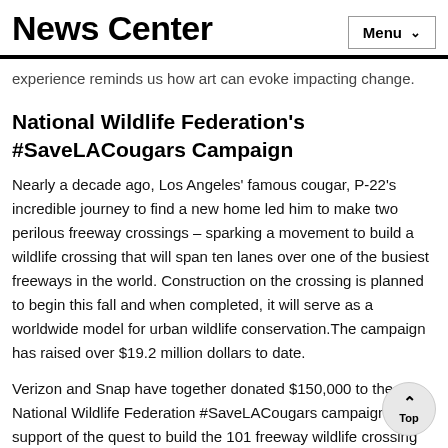News Center
experience reminds us how art can evoke impacting change.
National Wildlife Federation's #SaveLACougars Campaign
Nearly a decade ago, Los Angeles' famous cougar, P-22's incredible journey to find a new home led him to make two perilous freeway crossings – sparking a movement to build a wildlife crossing that will span ten lanes over one of the busiest freeways in the world. Construction on the crossing is planned to begin this fall and when completed, it will serve as a worldwide model for urban wildlife conservation.The campaign has raised over $19.2 million dollars to date.
Verizon and Snap have together donated $150,000 to the National Wildlife Federation #SaveLACougars campaign in support of the quest to build the 101 freeway wildlife crossing